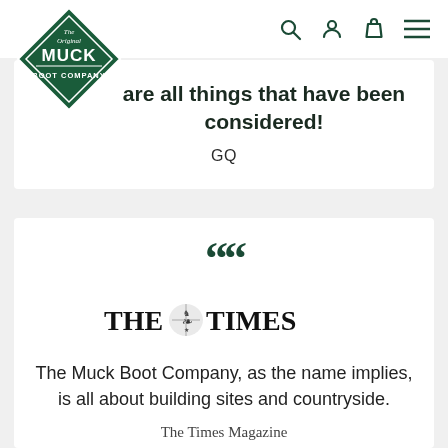[Figure (logo): Muck Boot Company diamond-shaped green logo with text: The Original, MUCK, BOOT COMPANY]
are all things that have been considered!
GQ
““
[Figure (logo): The Times newspaper masthead logo with decorative crest]
The Muck Boot Company, as the name implies, is all about building sites and countryside.
The Times Magazine